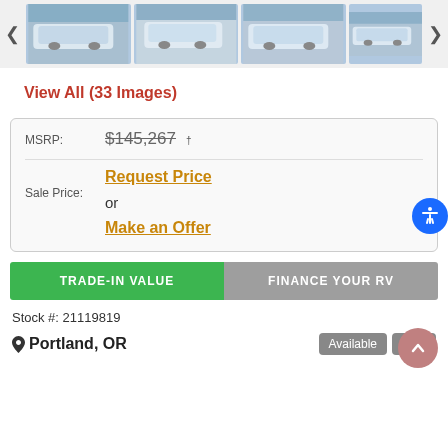[Figure (photo): Row of RV thumbnail images with left and right navigation arrows]
View All (33 Images)
| MSRP: | $145,267 † |
| Sale Price: | Request Price
or
Make an Offer |
TRADE-IN VALUE
FINANCE YOUR RV
Stock #: 21119819
Portland, OR
Available
New